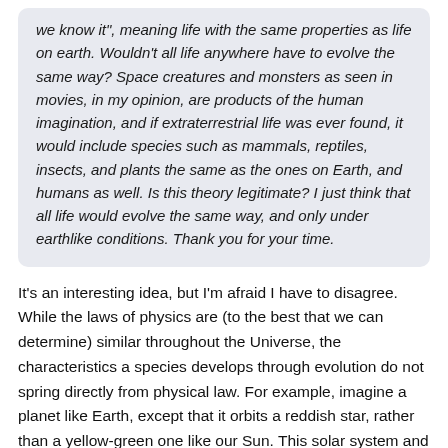we know it", meaning life with the same properties as life on earth. Wouldn't all life anywhere have to evolve the same way? Space creatures and monsters as seen in movies, in my opinion, are products of the human imagination, and if extraterrestrial life was ever found, it would include species such as mammals, reptiles, insects, and plants the same as the ones on Earth, and humans as well. Is this theory legitimate? I just think that all life would evolve the same way, and only under earthlike conditions. Thank you for your time.
It's an interesting idea, but I'm afraid I have to disagree. While the laws of physics are (to the best that we can determine) similar throughout the Universe, the characteristics a species develops through evolution do not spring directly from physical law. For example, imagine a planet like Earth, except that it orbits a reddish star, rather than a yellow-green one like our Sun. This solar system and our own can coexist under the same laws of physics, and yet life on the two planets would evolve to take the most advantage of the light provided by their